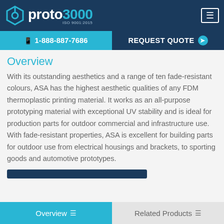proto3000 ISO 9001:2015
📱 1-888-887-7686 | REQUEST QUOTE ❯
Overview
With its outstanding aesthetics and a range of ten fade-resistant colours, ASA has the highest aesthetic qualities of any FDM thermoplastic printing material. It works as an all-purpose prototyping material with exceptional UV stability and is ideal for production parts for outdoor commercial and infrastructure use. With fade-resistant properties, ASA is excellent for building parts for outdoor use from electrical housings and brackets, to sporting goods and automotive prototypes.
Overview ≡   Related Products ≡